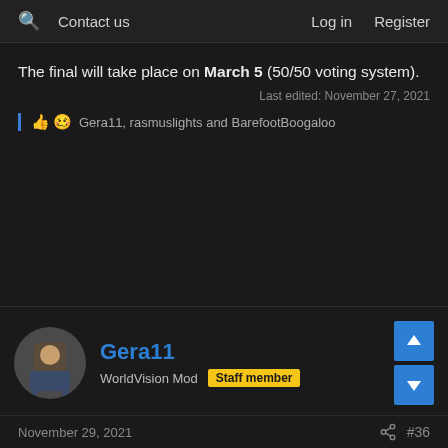🔍 Contact us | Log in Register
The final will take place on March 5 (50/50 voting system).
Last edited: November 27, 2021
Gera11, rasmuslights and BarefootBoogaloo
Gera11
WorldVision Mod Staff member
November 29, 2021
#36